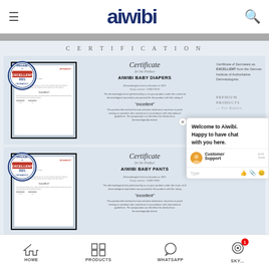aiwibi
CERTIFICATION
[Figure (screenshot): Certificate card for AIWIBI BABY DIAPERS showing Dermatest Excellent seal badge, scanned certificate document image, and certificate text details. Dermatological test on humans in 2021, Study number: 2108079993. Rating: excellent. Product did not lead to toxic-irritative intolerance reactions.]
Certificate of Dermatest as EXCELLENT from the German Institute of Authoritative Dermatologists. PREMIUM PRODUCTS — FOR BABIES
[Figure (screenshot): Certificate card for AIWIBI BABY PANTS showing Dermatest Excellent seal badge, scanned certificate document image, and certificate text details. Dermatological test on humans in 2021, Study number: 2108079980. Rating: excellent. Product did not lead to toxic-irritative intolerance reactions.]
[Figure (screenshot): Chat overlay: Welcome to Aiwibi. Happy to have chat with you here. Customer Support message. Type input area with emoji and attachment icons.]
HOME | PRODUCTS | WHATSAPP | SKYPE